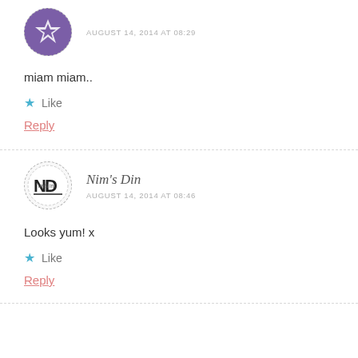[Figure (illustration): Partially visible circular avatar with purple decorative/geometric pattern, dashed border]
AUGUST 14, 2014 AT 08:29
miam miam..
Like
Reply
[Figure (logo): Circular avatar with dashed border containing 'Nim's Din' logo — stylized ND lettering]
Nim's Din
AUGUST 14, 2014 AT 08:46
Looks yum! x
Like
Reply